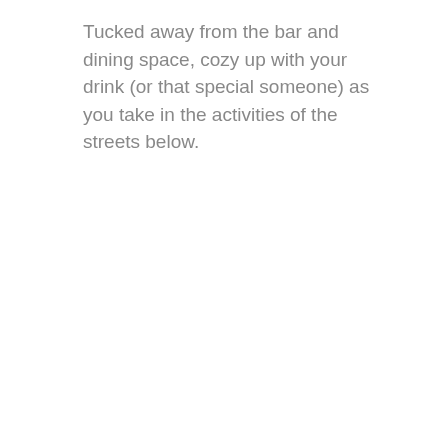Tucked away from the bar and dining space, cozy up with your drink (or that special someone) as you take in the activities of the streets below.